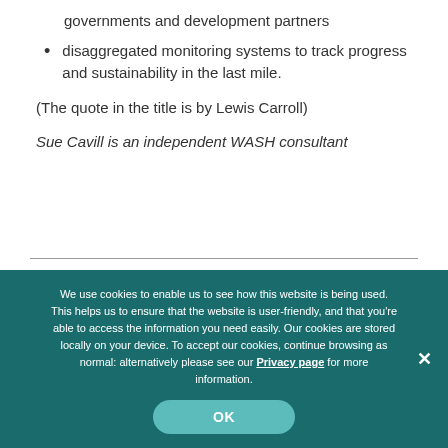governments and development partners
disaggregated monitoring systems to track progress and sustainability in the last mile.
(The quote in the title is by Lewis Carroll)
Sue Cavill is an independent WASH consultant
We use cookies to enable us to see how this website is being used. This helps us to ensure that the website is user-friendly, and that you're able to access the information you need easily. Our cookies are stored locally on your device. To accept our cookies, continue browsing as normal: alternatively please see our Privacy page for more information.